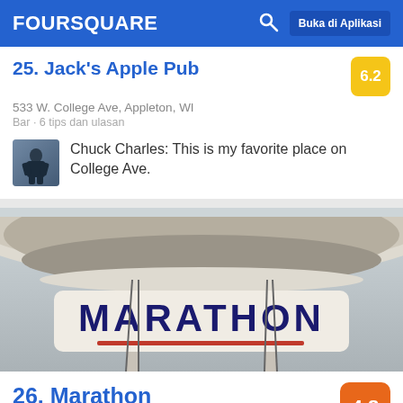FOURSQUARE  Buka di Aplikasi
25. Jack's Apple Pub  6.2
533 W. College Ave, Appleton, WI
Bar · 6 tips dan ulasan
Chuck Charles: This is my favorite place on College Ave.
[Figure (photo): Marathon gas station canopy and sign showing MARATHON logo in dark blue with red stripe]
26. Marathon  4.8
2005 S Oneida St (at Calumet St), Appleton, WI